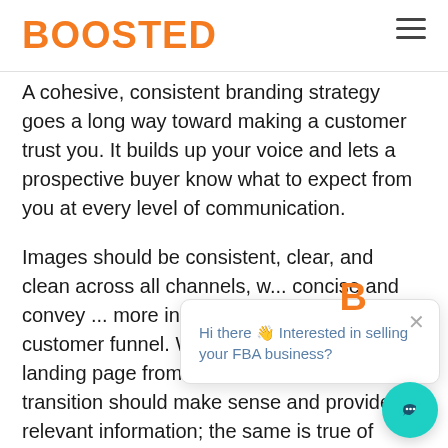BOOSTED
A cohesive, consistent branding strategy goes a long way toward making a customer trust you. It builds up your voice and lets a prospective buyer know what to expect from you at every level of communication.
Images should be consistent, clear, and clean across all channels, w... concise and convey ... more involved comm... the customer funnel. When a customer reaches a landing page from a marketing email, tha... transition should make sense and provide relevant information; the same is true of
[Figure (screenshot): Chat popup widget with orange B icon, close button (x), and message: 'Hi there 👋 Interested in selling your FBA business?' with teal chat button]